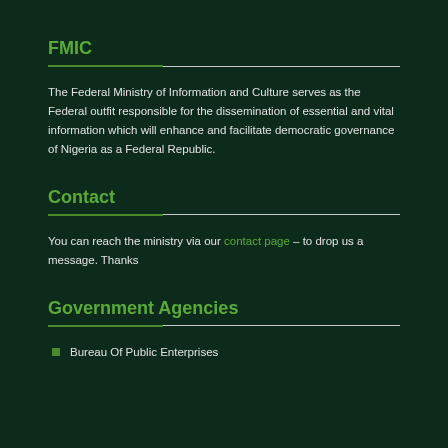FMIC
The Federal Ministry of Information and Culture serves as the Federal outfit responsible for the dissemination of essential and vital information which will enhance and facilitate democratic governance of Nigeria as a Federal Republic.
Contact
You can reach the ministry via our contact page – to drop us a message. Thanks
Government Agencies
Bureau Of Public Enterprises